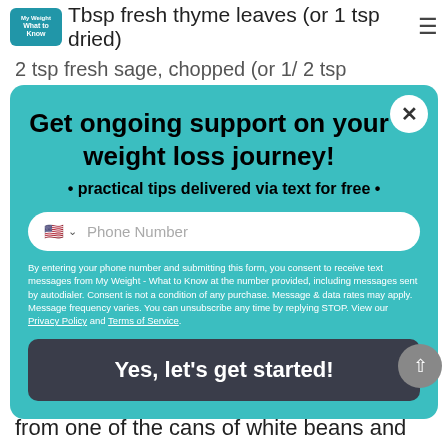1 Tbsp fresh thyme leaves (or 1 tsp dried)
2 tsp fresh sage, chopped (or 1/2 tsp
1/2 ts
1/
1 can (14.5 oz) diced tomatoes
1/3 cup gra
Directions
[Figure (screenshot): Modal popup with teal background. Title: 'Get ongoing support on your weight loss journey!'. Subtitle: '• practical tips delivered via text for free •'. Phone number input field with US flag. Consent text. CTA button 'Yes, let's get started!']
In a small bowl, drain and rinse the beans from one of the cans of white beans and